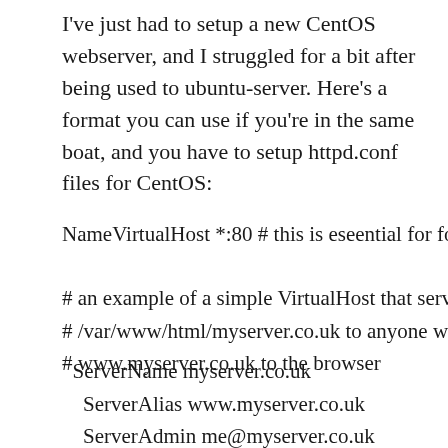I've just had to setup a new CentOS webserver, and I struggled for a bit after being used to ubuntu-server. Here's a format you can use if you're in the same boat, and you have to setup httpd.conf files for CentOS:
NameVirtualHost *:80 # this is eseential for for m
# an example of a simple VirtualHost that serves
# /var/www/html/myserver.co.uk to anyone wh
# www.myserver.co.uk to the browser
ServerName myserver.co.uk
    ServerAlias www.myserver.co.uk
    ServerAdmin me@myserver.co.uk
    DocumentRoot /var/www/html/myserver.co.